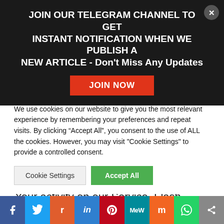JOIN OUR TELEGRAM CHANNEL TO GET INSTANT NOTIFICATION WHEN WE PUBLISH A NEW ARTICLE - Don't Miss Any Updates
Service may use local stored objects (or Flash Cookies) to collect and store information about Your preferences or Your activity on our Service. Flash Cookies are not managed by the same
We use cookies on our website to give you the most relevant experience by remembering your preferences and repeat visits. By clicking “Accept All”, you consent to the use of ALL the cookies. However, you may visit "Cookie Settings" to provide a controlled consent.
Cookie Settings | Accept All
[Figure (other): Social sharing bar with icons: Facebook, Twitter, Reddit, LinkedIn, Pinterest, MeWe, Mix, WhatsApp, Share]